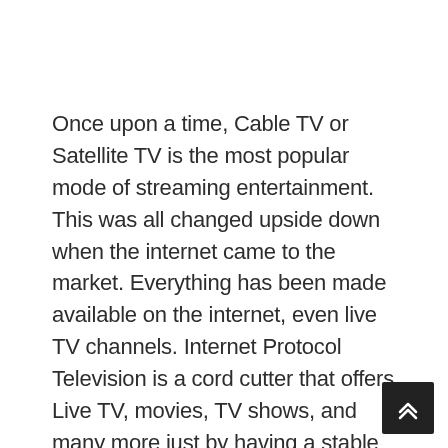Once upon a time, Cable TV or Satellite TV is the most popular mode of streaming entertainment. This was all changed upside down when the internet came to the market. Everything has been made available on the internet, even live TV channels. Internet Protocol Television is a cord cutter that offers Live TV, movies, TV shows, and many more just by having a stable internet connection. Let's see about IPTV Gratuit in the upcoming article.